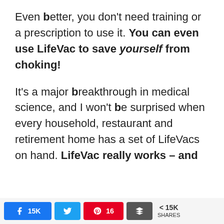Even better, you don't need training or a prescription to use it. You can even use LifeVac to save yourself from choking!
It's a major breakthrough in medical science, and I won't be surprised when every household, restaurant and retirement home has a set of LifeVacs on hand. LifeVac really works – and
Facebook 15K | Twitter | Pinterest 16 | More | < 15K SHARES